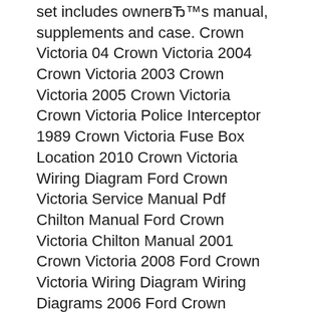set includes owner's manual, supplements and case. Crown Victoria 04 Crown Victoria 2004 Crown Victoria 2003 Crown Victoria 2005 Crown Victoria Crown Victoria Police Interceptor 1989 Crown Victoria Fuse Box Location 2010 Crown Victoria Wiring Diagram Ford Crown Victoria Service Manual Pdf Chilton Manual Ford Crown Victoria Chilton Manual 2001 Crown Victoria 2008 Ford Crown Victoria Wiring Diagram Wiring Diagrams 2006 Ford Crown Victoria 2006
2005 Ford Crown Victoria Police & Fleet Vehicles Owner's Manual Set Original factory manual set used as a guide to operate your vehicle. Complete